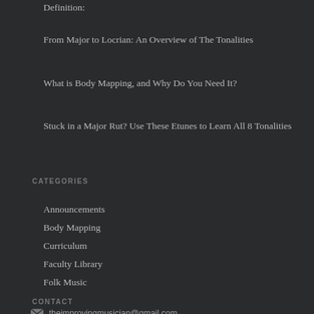Definition:
From Major to Locrian: An Overview of The Tonalities
What is Body Mapping, and Why Do You Need It?
Stuck in a Major Rut? Use These Etunes to Learn All 8 Tonalities
CATEGORIES
Announcements
Body Mapping
Curriculum
Faculty Library
Folk Music
CONTACT
theimprovingmusician@gmail.com